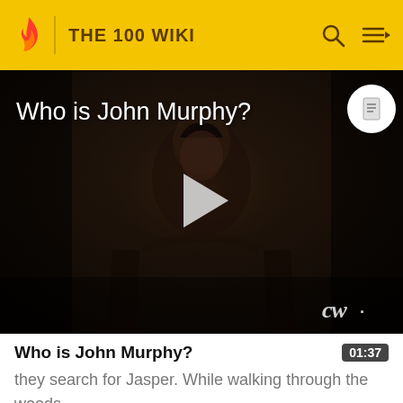THE 100 WIKI
[Figure (screenshot): Video thumbnail showing a dark scene with a male character, titled 'Who is John Murphy?' with a play button overlay and CW network logo]
Who is John Murphy?
they search for Jasper. While walking through the woods, Murphy asks Bellamy how they got into the rescuing business. Bellamy explains that he's here only for Clarke's wristband. Bellamy states he'll do anything to get it, even